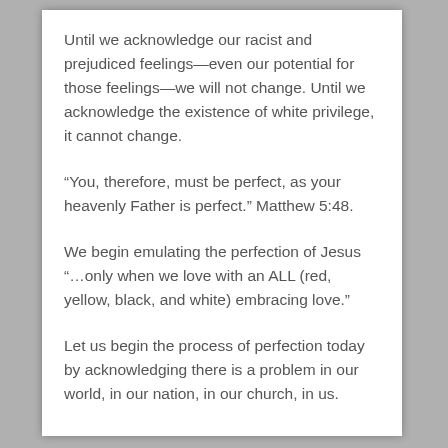Until we acknowledge our racist and prejudiced feelings—even our potential for those feelings—we will not change. Until we acknowledge the existence of white privilege, it cannot change.
“You, therefore, must be perfect, as your heavenly Father is perfect.” Matthew 5:48.
We begin emulating the perfection of Jesus “…only when we love with an ALL (red, yellow, black, and white) embracing love.”
Let us begin the process of perfection today by acknowledging there is a problem in our world, in our nation, in our church, in us.